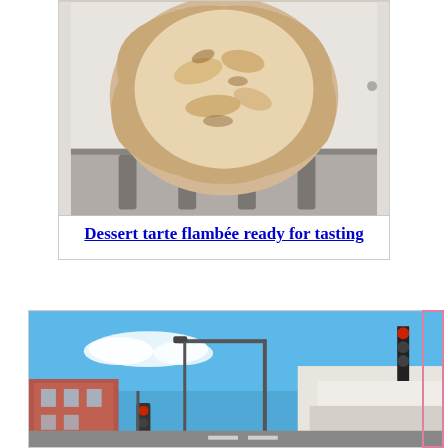[Figure (photo): Photo of a dessert tarte flambée (flatbread/tart with toppings) resting on an oven rack, viewed from above. The tart has a rustic, irregular round shape with browned edges and visible toppings.]
Dessert tarte flambée ready for tasting
[Figure (photo): Street scene photo showing an urban intersection with buildings, traffic lights on poles, a clear blue sky with some clouds, and street signs. Red brick and white commercial buildings visible.]